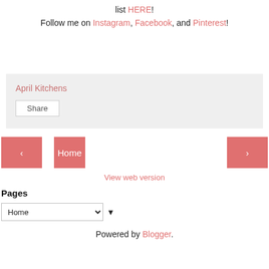list HERE! Follow me on Instagram, Facebook, and Pinterest!
April Kitchens
Share
Home
View web version
Pages
Home
Powered by Blogger.